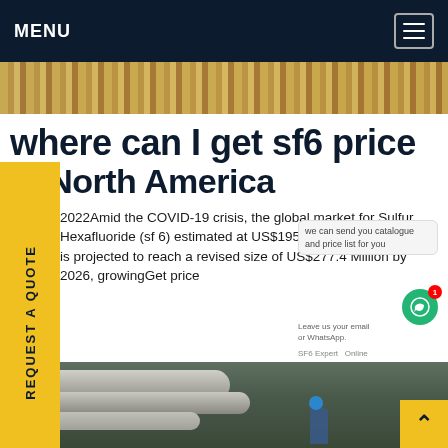MENU
[Figure (photo): Industrial yellow/gold gravel or pipe fittings strip image at top of page]
where can I get sf6 price in North America
2022Amid the COVID-19 crisis, the global market for Sulfur Hexafluoride (sf 6) estimated at US$195.0 on in the year 2020, is projected to reach a revised size of US$277.4 Million by 2026, growingGet price
[Figure (photo): Industrial facility interior showing large cylindrical pipes/pressure vessels with a worker in blue helmet visible]